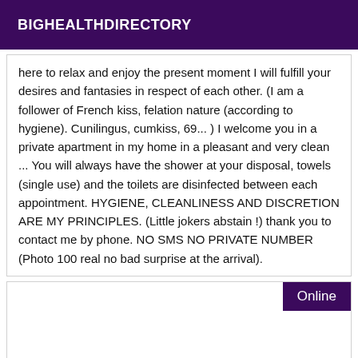BIGHEALTHDIRECTORY
here to relax and enjoy the present moment I will fulfill your desires and fantasies in respect of each other. (I am a follower of French kiss, felation nature (according to hygiene). Cunilingus, cumkiss, 69... ) I welcome you in a private apartment in my home in a pleasant and very clean ... You will always have the shower at your disposal, towels (single use) and the toilets are disinfected between each appointment. HYGIENE, CLEANLINESS AND DISCRETION ARE MY PRINCIPLES. (Little jokers abstain !) thank you to contact me by phone. NO SMS NO PRIVATE NUMBER (Photo 100 real no bad surprise at the arrival).
Online